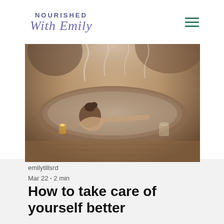NOURISHED With Emily
[Figure (photo): Woman relaxing in a steamy outdoor hot tub with candles and drinks, warm muted tones]
emilytillsrd
Mar 22 · 2 min
How to take care of yourself better
Our lives constantly feel like we are just getting busier and busier every day and it's so hard for us to